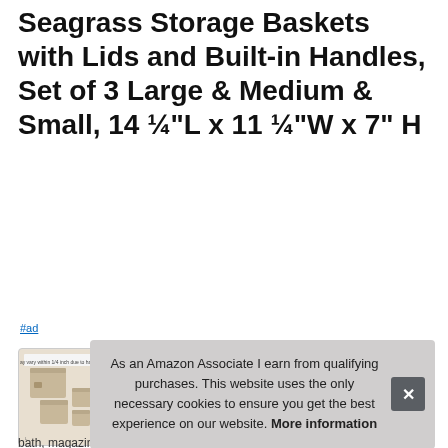Seagrass Storage Baskets with Lids and Built-in Handles, Set of 3 Large & Medium & Small, 14 ¼"L x 11 ¼"W x 7" H
#ad
[Figure (photo): Four thumbnail photos of seagrass storage baskets with lids. First shows dimension diagram, second shows baskets in a room setting, third shows baskets on a desk with a mirror, fourth shows baskets near a couch.]
Storage
one... ¾"H... Vers...
As an Amazon Associate I earn from qualifying purchases. This website uses the only necessary cookies to ensure you get the best experience on our website. More information